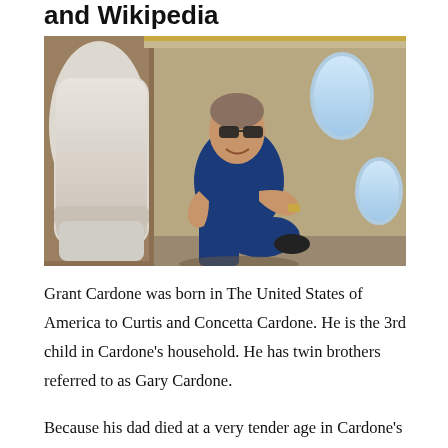and Wikipedia
[Figure (photo): Man in blue polo shirt and sunglasses sitting relaxed in a luxury private jet cabin, smiling at camera. The jet interior shows white leather seats, wood paneling, and oval windows.]
Grant Cardone was born in The United States of America to Curtis and Concetta Cardone. He is the 3rd child in Cardone's household. He has twin brothers referred to as Gary Cardone.
Because his dad died at a very tender age in Cardone's